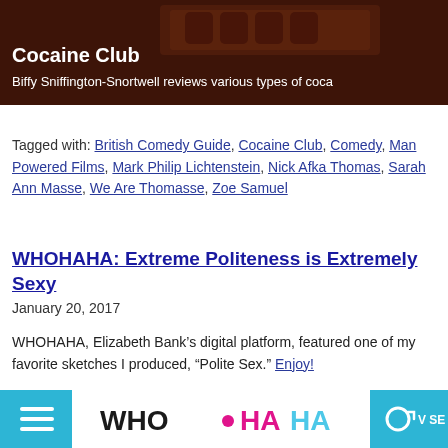[Figure (screenshot): Cocaine Club header image with dark reddish background, showing title 'Cocaine Club' and subtitle 'Biffy Sniffington-Snortwell reviews various types of coca']
Tagged with: British Comedy Guide, Cocaine Club, Comedy, Man Powered Films, Mark Philip Lichtenstein, Nick Afka Thomas, Sarah Ann Masse, We Are Thomasse, Zoe Samuel
WHOHAHA: Extreme Politeness is Extremely Sexy
January 20, 2017
WHOHAHA, Elizabeth Bank’s digital platform, featured one of my favorite sketches I produced, “Polite Sex.” Enjoy!
[Figure (screenshot): WHOHAHA website screenshot showing the WHOHAHA logo with hamburger menu on left and partial navigation on right]